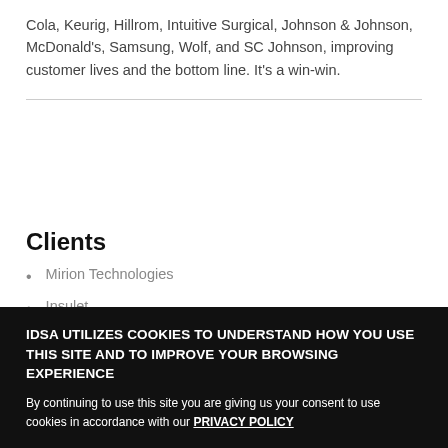Cola, Keurig, Hillrom, Intuitive Surgical, Johnson & Johnson, McDonald's, Samsung, Wolf, and SC Johnson, improving customer lives and the bottom line. It's a win-win.
Clients
Mirion Technologies
Insulet
IDSA UTILIZES COOKIES TO UNDERSTAND HOW YOU USE THIS SITE AND TO IMPROVE YOUR BROWSING EXPERIENCE
By continuing to use this site you are giving us your consent to use cookies in accordance with our PRIVACY POLICY